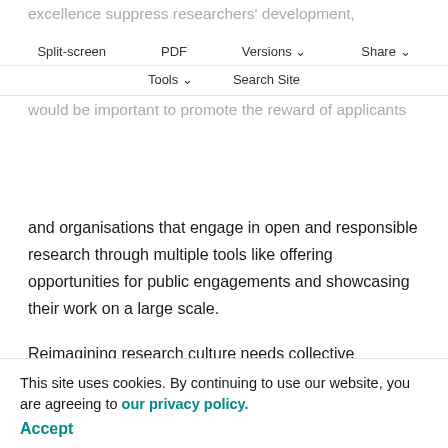excellence suppress researchers' development, creativity and engagement, to the detriment of advances in knowledge and society (Cohen et al., 2019). Therefore, it would be important to promote the reward of applicants
Split-screen | PDF | Versions | Share | Tools | Search Site
and organisations that engage in open and responsible research through multiple tools like offering opportunities for public engagements and showcasing their work on a large scale.
Reimagining research culture needs collective responsibility and requires at the same time continuous evaluation and implementation. Some efforts in this sense have already been made. The Wellcome Trust, for example,
launched the Reimagine Research Solutions Summit, a major initiative in September 2019 to bring together members of the field to explore these topics and think about practical steps to achieve a better research culture. Equally
This site uses cookies. By continuing to use our website, you are agreeing to our privacy policy. Accept